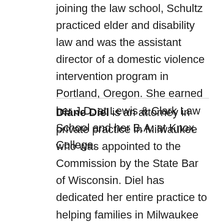joining the law school, Schultz practiced elder and disability law and was the assistant director of a domestic violence intervention program in Portland, Oregon. She earned her J.D. at Lewis & Clark Law School and her B.A. at Knox College.
Diane Diel is an attorney in private practice in Milwaukee who was appointed to the Commission by the State Bar of Wisconsin. Diel has dedicated her entire practice to helping families in Milwaukee and the surrounding areas find positive solutions to a wide variety of family law concerns. Clients turn to her for skilled mediation and collaborative law representation. Diel is a past President of the State Bar of